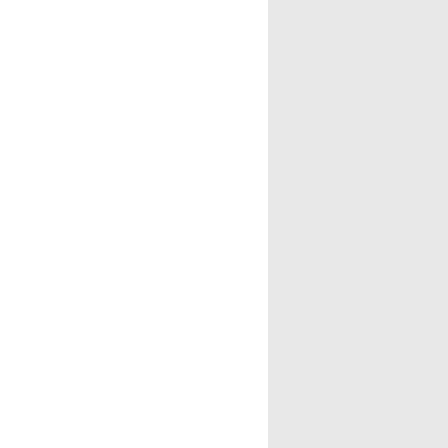"On Stage"
[Figure (photo): Partial view of a colorful photo strip showing bright colored stripes and a dark background section, appears to be a performance or stage-related image, partially cropped at the top of the right panel.]